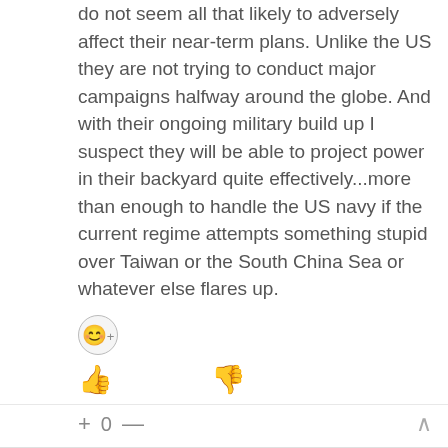do not seem all that likely to adversely affect their near-term plans. Unlike the US they are not trying to conduct major campaigns halfway around the globe. And with their ongoing military build up I suspect they will be able to project power in their backyard quite effectively...more than enough to handle the US navy if the current regime attempts something stupid over Taiwan or the South China Sea or whatever else flares up.
[Figure (other): Emoji reaction button (smiley face with plus)]
[Figure (other): Thumbs up and thumbs down vote buttons]
+ 0 —
[Figure (photo): User avatar showing a bird on a surface]
MarkMatis
Reply to HazHap  1 year ago
Wait until they attack Taiwan and see what THAT